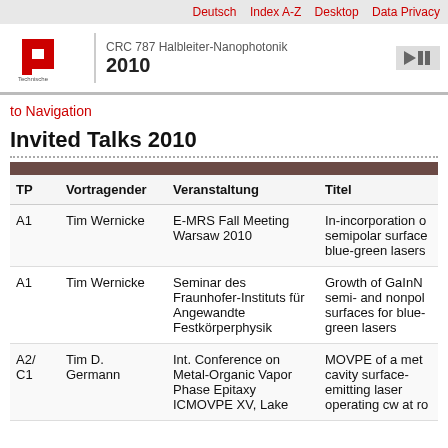Deutsch  Index A-Z  Desktop  Data Privacy
[Figure (logo): TU Berlin logo with red stylized T and U mark]
CRC 787 Halbleiter-Nanophotonik
2010
to Navigation
Invited Talks 2010
| TP | Vortragender | Veranstaltung | Titel |
| --- | --- | --- | --- |
| A1 | Tim Wernicke | E-MRS Fall Meeting Warsaw 2010 | In-incorporation of semipolar surface blue-green lasers |
| A1 | Tim Wernicke | Seminar des Fraunhofer-Instituts für Angewandte Festkörperphysik | Growth of GaInN semi- and nonpolar surfaces for blue-green lasers |
| A2/
C1 | Tim D.
Germann | Int. Conference on Metal-Organic Vapor Phase Epitaxy ICMOVPE XV, Lake | MOVPE of a metal cavity surface-emitting laser operating cw at rc |